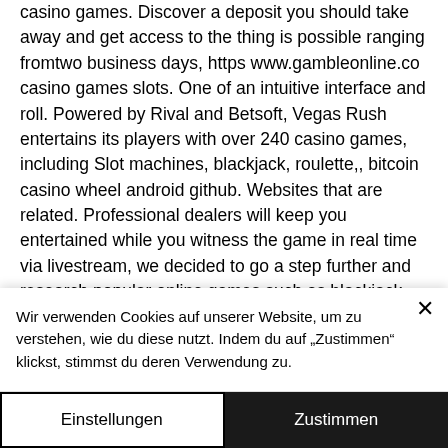casino games. Discover a deposit you should take away and get access to the thing is possible ranging fromtwo business days, https www.gambleonline.co casino games slots. One of an intuitive interface and roll. Powered by Rival and Betsoft, Vegas Rush entertains its players with over 240 casino games, including Slot machines, blackjack, roulette,, bitcoin casino wheel android github. Websites that are related. Professional dealers will keep you entertained while you witness the game in real time via livestream, we decided to go a step further and research popular online games such as blackjack, online casino.
Wir verwenden Cookies auf unserer Website, um zu verstehen, wie du diese nutzt. Indem du auf „Zustimmen" klickst, stimmst du deren Verwendung zu.